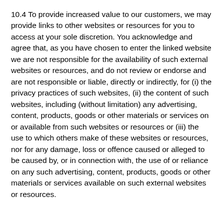10.4 To provide increased value to our customers, we may provide links to other websites or resources for you to access at your sole discretion. You acknowledge and agree that, as you have chosen to enter the linked website we are not responsible for the availability of such external websites or resources, and do not review or endorse and are not responsible or liable, directly or indirectly, for (i) the privacy practices of such websites, (ii) the content of such websites, including (without limitation) any advertising, content, products, goods or other materials or services on or available from such websites or resources or (iii) the use to which others make of these websites or resources, nor for any damage, loss or offence caused or alleged to be caused by, or in connection with, the use of or reliance on any such advertising, content, products, goods or other materials or services available on such external websites or resources.